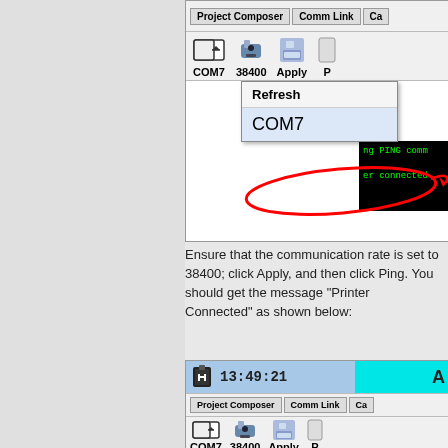[Figure (screenshot): Software UI screenshot showing COM port toolbar with COM7, 38400, Apply buttons, a dropdown menu showing 'Refresh' and 'COM7' (COM7 circled in red), and a terminal showing 'PING comm...' and 'er connected']
Ensure that the communication rate is set to 38400; click Apply, and then click Ping. You should get the message "Printer Connected" as shown below:
[Figure (screenshot): Software UI screenshot showing status bar with plug icon, time 13:49:21, cyan area with 'A', tabs Project Composer / Comm Link / Ca, icon toolbar with COM7, 38400 (circled), Apply (circled) buttons]